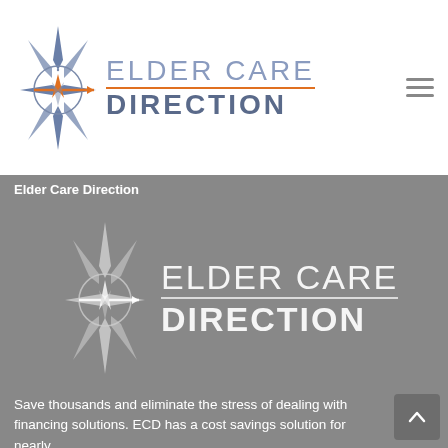[Figure (logo): Elder Care Direction logo with compass graphic and text 'ELDER CARE DIRECTION' in blue/gray on white background, with orange arrow]
Elder Care Direction
[Figure (logo): Elder Care Direction logo with compass graphic and text 'ELDER CARE DIRECTION' in white on gray background]
Save thousands and eliminate the stress of dealing with financing solutions. ECD has a cost savings solution for nearly